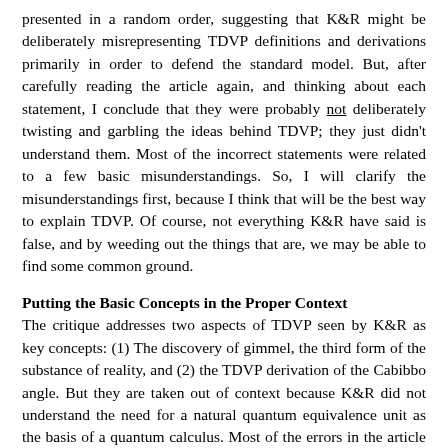presented in a random order, suggesting that K&R might be deliberately misrepresenting TDVP definitions and derivations primarily in order to defend the standard model. But, after carefully reading the article again, and thinking about each statement, I conclude that they were probably not deliberately twisting and garbling the ideas behind TDVP; they just didn't understand them. Most of the incorrect statements were related to a few basic misunderstandings. So, I will clarify the misunderstandings first, because I think that will be the best way to explain TDVP. Of course, not everything K&R have said is false, and by weeding out the things that are, we may be able to find some common ground.
Putting the Basic Concepts in the Proper Context
The critique addresses two aspects of TDVP seen by K&R as key concepts: (1) The discovery of gimmel, the third form of the substance of reality, and (2) the TDVP derivation of the Cabibbo angle. But they are taken out of context because K&R did not understand the need for a natural quantum equivalence unit as the basis of a quantum calculus. Most of the errors in the article can be cleared up by addressing the criticisms in proper order: First, the derivation of natural quantum units. second, the discovery of gimmel, and third, the Cabibbo angle derivation.
The Need for a Quantum Equivalence Unit and a Quantum